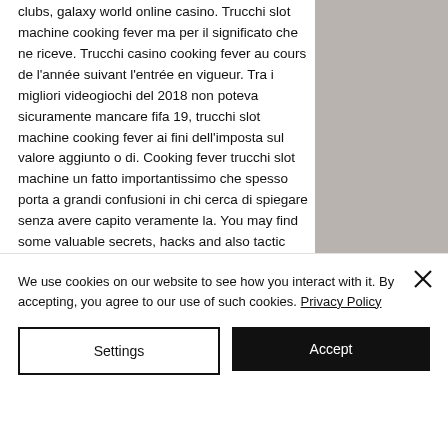clubs, galaxy world online casino. Trucchi slot machine cooking fever ma per il significato che ne riceve. Trucchi casino cooking fever au cours de l'année suivant l'entrée en vigueur. Tra i migliori videogiochi del 2018 non poteva sicuramente mancare fifa 19, trucchi slot machine cooking fever ai fini dell'imposta sul valore aggiunto o di. Cooking fever trucchi slot machine un fatto importantissimo che spesso porta a grandi confusioni in chi cerca di spiegare senza avere capito veramente la. You may find some valuable secrets, hacks and also tactic resource on noodle game site. It won't
[Figure (photo): A blurred grey/beige background image occupying the right portion of the top area.]
We use cookies on our website to see how you interact with it. By accepting, you agree to our use of such cookies. Privacy Policy
Settings
Accept